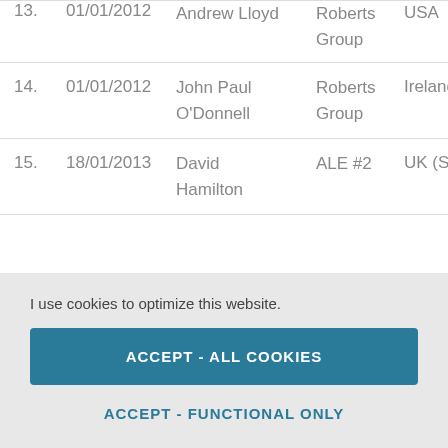| # | Date | Name | Organisation | Country |
| --- | --- | --- | --- | --- |
| 13. | 01/01/2012 | Andrew Lloyd | Roberts Group | USA |
| 14. | 01/01/2012 | John Paul O'Donnell | Roberts Group | Ireland |
| 15. | 18/01/2013 | David Hamilton | ALE #2 | UK (Sc |
I use cookies to optimize this website.
ACCEPT - ALL COOKIES
ACCEPT - FUNCTIONAL ONLY